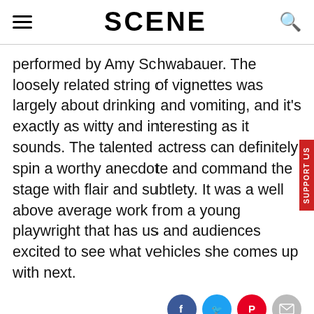SCENE
performed by Amy Schwabauer. The loosely related string of vignettes was largely about drinking and vomiting, and it's exactly as witty and interesting as it sounds. The talented actress can definitely spin a worthy anecdote and command the stage with flair and subtlety. It was a well above average work from a young playwright that has us and audiences excited to see what vehicles she comes up with next.
[Figure (infographic): Social share buttons: Facebook, Twitter, Pinterest, Email, and a close X button]
[Figure (infographic): Advertisement banner: image of cashews on left, text 'Fighting Diabetes? This Discovery Leaves' with source n/a and domain dailytips.info, blue arrow button on right]